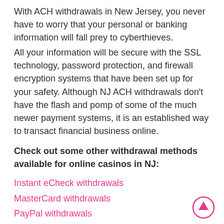With ACH withdrawals in New Jersey, you never have to worry that your personal or banking information will fall prey to cyberthieves.
All your information will be secure with the SSL technology, password protection, and firewall encryption systems that have been set up for your safety. Although NJ ACH withdrawals don't have the flash and pomp of some of the much newer payment systems, it is an established way to transact financial business online.
Check out some other withdrawal methods available for online casinos in NJ:
Instant  eCheck withdrawals
MasterCard withdrawals
PayPal withdrawals